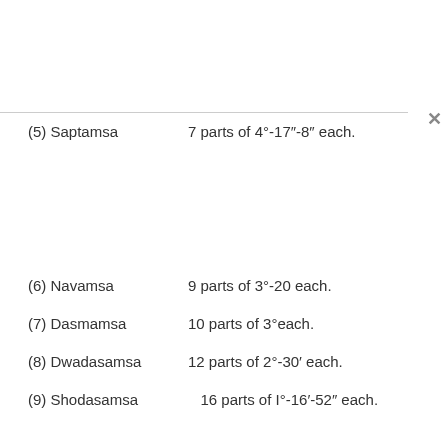(5) Saptamsa    7 parts of 4°-17"-8" each.
(6) Navamsa    9 parts of 3°-20 each.
(7) Dasmamsa    10 parts of 3° each.
(8) Dwadasamsa    12 parts of 2°-30' each.
(9) Shodasamsa    16 parts of I°-16'-52" each.